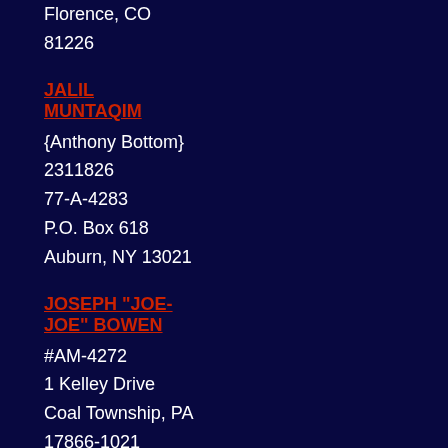Florence, CO
81226
JALIL MUNTAQIM
{Anthony Bottom}
2311826
77-A-4283
P.O. Box 618
Auburn, NY 13021
JOSEPH "JOE-JOE" BOWEN
#AM-4272
1 Kelley Drive
Coal Township, PA
17866-1021
JOSH HARPER
29429-086
P.O. Box 5000
Sheridan, OR